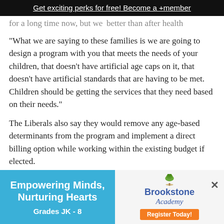Get exciting perks for free! Become a +member
for a long time now, but we better than after health
"What we are saying to these families is we are going to design a program with you that meets the needs of your children, that doesn't have artificial age caps on it, that doesn't have artificial standards that are having to be met. Children should be getting the services that they need based on their needs."
The Liberals also say they would remove any age-based determinants from the program and implement a direct billing option while working within the existing budget if elected.
[Figure (infographic): Brookstone Academy advertisement with blue left panel 'Empowering Minds, Nurturing Hearts, Grades JK - 8' and right panel with tree logo, Brookstone Academy name, and orange Register Today button]